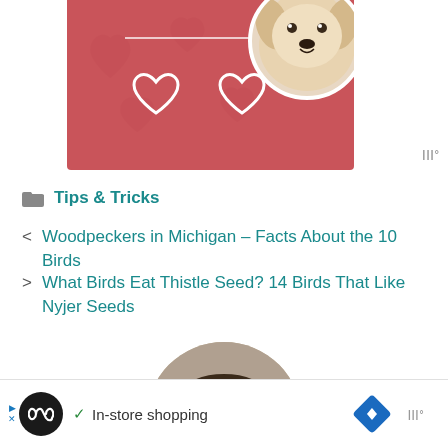[Figure (photo): Top ad banner with pink/red background, white heart outlines, and a dog (golden/cream colored) in a circular cutout on the right side]
Tips & Tricks
< Woodpeckers in Michigan – Facts About the 10 Birds
> What Birds Eat Thistle Seed? 14 Birds That Like Nyjer Seeds
[Figure (photo): Circular author headshot photo of a smiling man with short dark hair]
[Figure (screenshot): Bottom ad bar showing infinity loop icon, checkmark, In-store shopping text, navigation diamond icon, and Mediavine wordmark]